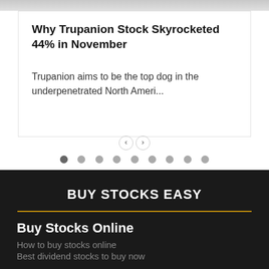[Figure (photo): Partial photo strip at top of page, appears to show a person]
Why Trupanion Stock Skyrocketed 44% in November
Trupanion aims to be the top dog in the underpenetrated North Ameri...
[Figure (infographic): Navigation arrows (left/right chevrons in circle) and pagination dots, first dot active]
BUY STOCKS EASY
Buy Stocks Online
How to buy stocks online
Best dividend stocks to buy now